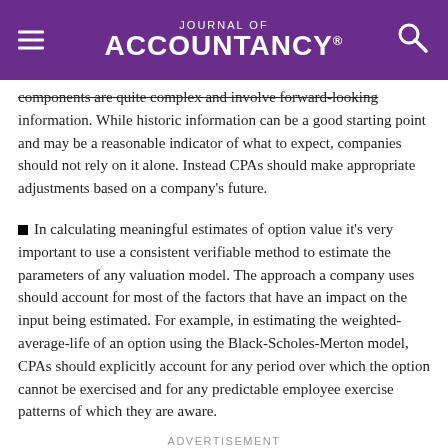Journal of Accountancy
components are quite complex and involve forward-looking information. While historic information can be a good starting point and may be a reasonable indicator of what to expect, companies should not rely on it alone. Instead CPAs should make appropriate adjustments based on a company's future.
In calculating meaningful estimates of option value it's very important to use a consistent verifiable method to estimate the parameters of any valuation model. The approach a company uses should account for most of the factors that have an impact on the input being estimated. For example, in estimating the weighted-average-life of an option using the Black-Scholes-Merton model, CPAs should explicitly account for any period over which the option cannot be exercised and for any predictable employee exercise patterns of which they are aware.
ADVERTISEMENT